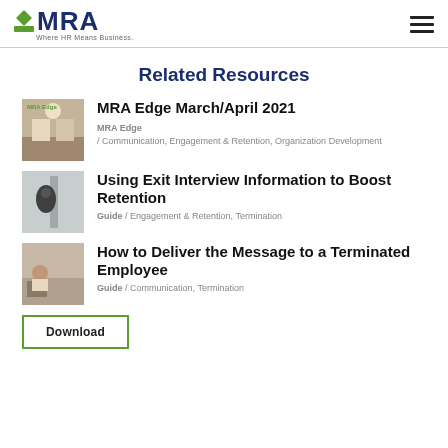MRA — Where HR Means Business.
Related Resources
[Figure (photo): Thumbnail image for MRA Edge March/April 2021 — interior lobby or hallway scene]
MRA Edge March/April 2021
MRA Edge / Communication, Engagement & Retention, Organization Development
[Figure (photo): Thumbnail image for Using Exit Interview Information to Boost Retention — person walking through doorway]
Using Exit Interview Information to Boost Retention
Guide / Engagement & Retention, Termination
[Figure (photo): Thumbnail image for How to Deliver the Message to a Terminated Employee — person sitting at desk with boxes]
How to Deliver the Message to a Terminated Employee
Guide / Communication, Termination
Download